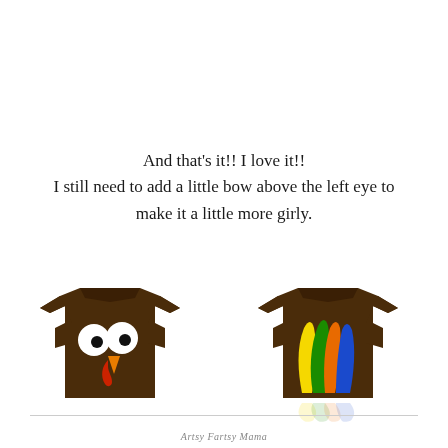And that's it!! I love it!! I still need to add a little bow above the left eye to make it a little more girly.
[Figure (photo): Two brown children's t-shirts. The front shirt shows a turkey face with large white googly eyes with black pupils, an orange beak, and a red wattle. The back shirt shows colorful turkey tail feathers in yellow, green, orange, and blue appliqued fabric. Both shirts have faint reflections below them.]
Artsy Fartsy Mama